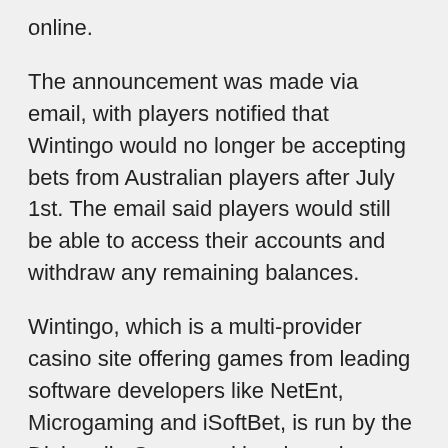online.
The announcement was made via email, with players notified that Wintingo would no longer be accepting bets from Australian players after July 1st. The email said players would still be able to access their accounts and withdraw any remaining balances.
Wintingo, which is a multi-provider casino site offering games from leading software developers like NetEnt, Microgaming and iSoftBet, is run by the Digimedia Group and has been in operation for over a decade. It holds a casino licensed from the Malta Gaming Authority (MGA) and is certified with eCOGRA’s safe and fair seal of approval.
The casino’s withdrawal from the Australian market comes after changes were approved in Australian parliament in March 2017 to alter the wording of the current online gambling laws under the Interactive